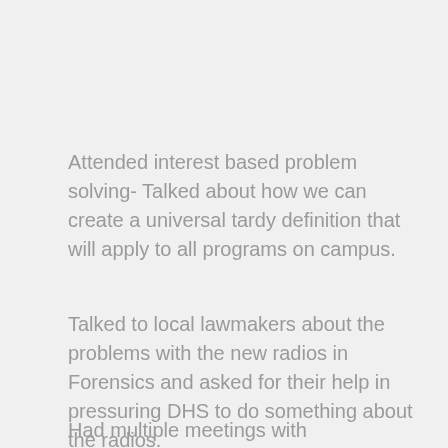Attended interest based problem solving- Talked about how we can create a universal tardy definition that will apply to all programs on campus.
Talked to local lawmakers about the problems with the new radios in Forensics and asked for their help in pressuring DHS to do something about the radios.
Had multiple meetings with management in forensics to discuss the problem with the radios.